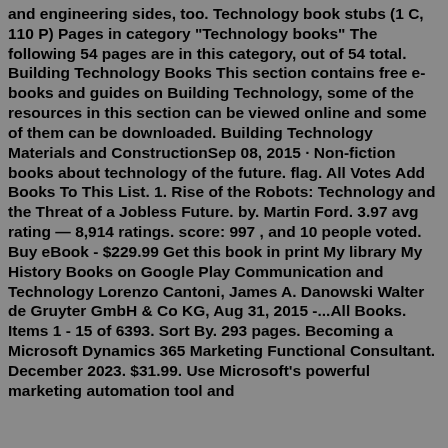and engineering sides, too. Technology book stubs (1 C, 110 P) Pages in category "Technology books" The following 54 pages are in this category, out of 54 total. Building Technology Books This section contains free e-books and guides on Building Technology, some of the resources in this section can be viewed online and some of them can be downloaded. Building Technology Materials and ConstructionSep 08, 2015 · Non-fiction books about technology of the future. flag. All Votes Add Books To This List. 1. Rise of the Robots: Technology and the Threat of a Jobless Future. by. Martin Ford. 3.97 avg rating — 8,914 ratings. score: 997 , and 10 people voted. Buy eBook - $229.99 Get this book in print My library My History Books on Google Play Communication and Technology Lorenzo Cantoni, James A. Danowski Walter de Gruyter GmbH & Co KG, Aug 31, 2015 -...All Books. Items 1 - 15 of 6393. Sort By. 293 pages. Becoming a Microsoft Dynamics 365 Marketing Functional Consultant. December 2023. $31.99. Use Microsoft's powerful marketing automation tool and